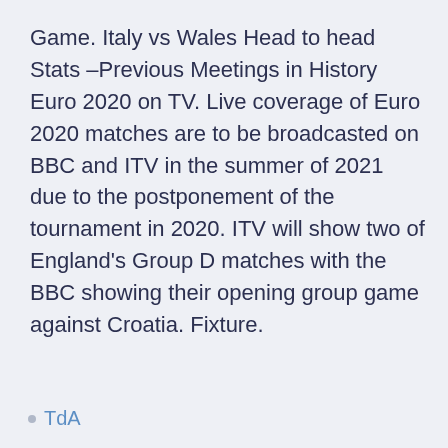Game. Italy vs Wales Head to head Stats –Previous Meetings in History Euro 2020 on TV. Live coverage of Euro 2020 matches are to be broadcasted on BBC and ITV in the summer of 2021 due to the postponement of the tournament in 2020. ITV will show two of England's Group D matches with the BBC showing their opening group game against Croatia. Fixture.
TdA